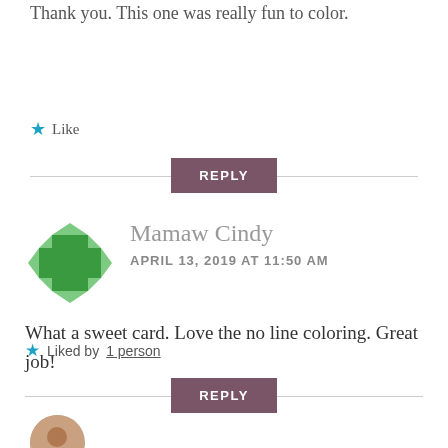Thank you. This one was really fun to color.
★ Like
REPLY
Mamaw Cindy
APRIL 13, 2019 AT 11:50 AM
What a sweet card. Love the no line coloring. Great job!
★ Liked by 1 person
REPLY